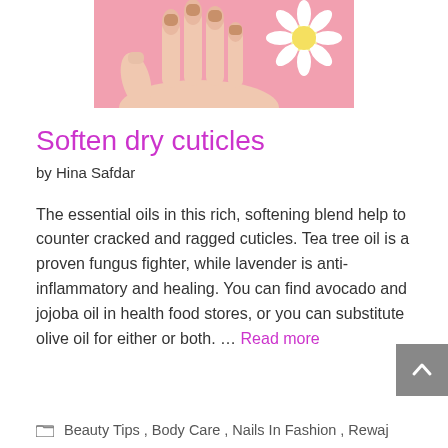[Figure (photo): Hands with manicured nails resting on a pink background with a white daisy flower]
Soften dry cuticles
by Hina Safdar
The essential oils in this rich, softening blend help to counter cracked and ragged cuticles. Tea tree oil is a proven fungus fighter, while lavender is anti-inflammatory and healing. You can find avocado and jojoba oil in health food stores, or you can substitute olive oil for either or both. … Read more
Beauty Tips, Body Care, Nails In Fashion, Rewaj